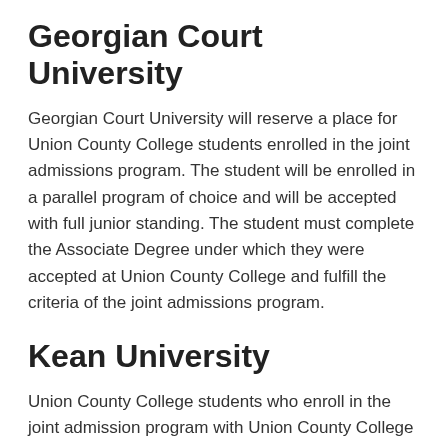Georgian Court University
Georgian Court University will reserve a place for Union County College students enrolled in the joint admissions program. The student will be enrolled in a parallel program of choice and will be accepted with full junior standing. The student must complete the Associate Degree under which they were accepted at Union County College and fulfill the criteria of the joint admissions program.
Kean University
Union County College students who enroll in the joint admission program with Union County College and Kean University should be guaranteed admission as juniors provided they have completed an Associate Degree and fulfill all the necessary criteria of the joint